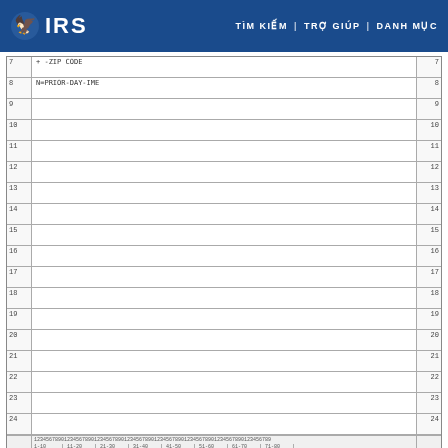IRS | TÌM KIẾM | TRỢ GIÚP | DANH MỤC
[Figure (other): IRS tax form data entry screen showing rows 7 through 24 with row numbers on both sides and a character ruler at the bottom showing columns 1-80. Row 7 contains '+ -ZIP CODE', Row 8 contains 'N=PRIOR-DAY-IME'. Rows 9-24 are blank. Bottom ruler shows character positions 1-10 through 71-80.]
Please click here for the text description of the image.
Exhibit 2.4.20-9